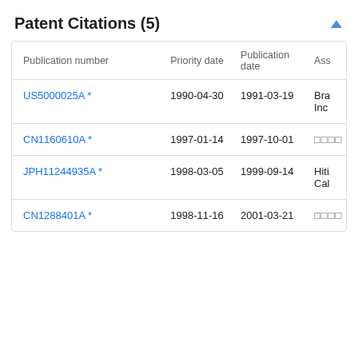Patent Citations (5)
| Publication number | Priority date | Publication date | Ass |
| --- | --- | --- | --- |
| US5000025A * | 1990-04-30 | 1991-03-19 | Bra Inc |
| CN1160610A * | 1997-01-14 | 1997-10-01 | ■■■■ |
| JPH11244935A * | 1998-03-05 | 1999-09-14 | Hiti Cal |
| CN1288401A * | 1998-11-16 | 2001-03-21 | ■■■■ |